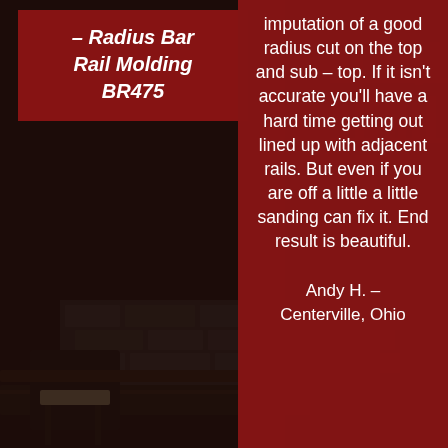[Figure (photo): Dark photo of a bar interior with bar stools, stone wall, and liquor bottles on shelves in the background. The image is dimly lit with dark tones.]
– Radius Bar Rail Molding BR475
imputation of a good radius cut on the top and sub – top. If it isn't accurate you'll have a hard time getting out lined up with adjacent rails. But even if you are off a little a little sanding can fix it. End result is beautiful.
Andy H. – Centerville, Ohio